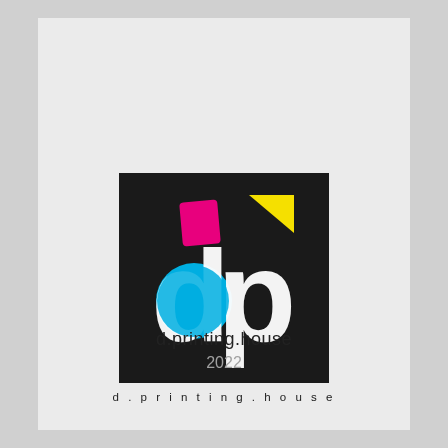[Figure (logo): d.printing.house logo: black square with stylized 'dp' letters in white, with cyan circle on 'd', magenta square accent, yellow triangle accent on 'p'. Below the square: 'd.printing.house' in spaced letters.]
d.printing.house
2022